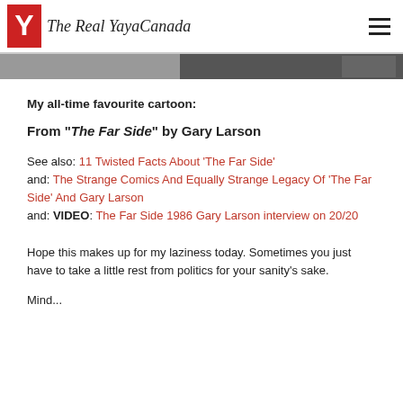The Real YayaCanada
[Figure (photo): Partial image strip at top of content area, appears to be a black and white photo cropped at top]
My all-time favourite cartoon:
From "The Far Side" by Gary Larson
See also: 11 Twisted Facts About 'The Far Side'
and: The Strange Comics And Equally Strange Legacy Of 'The Far Side' And Gary Larson
and: VIDEO: The Far Side 1986 Gary Larson interview on 20/20
Hope this makes up for my laziness today. Sometimes you just have to take a little rest from politics for your sanity's sake.
Mind...